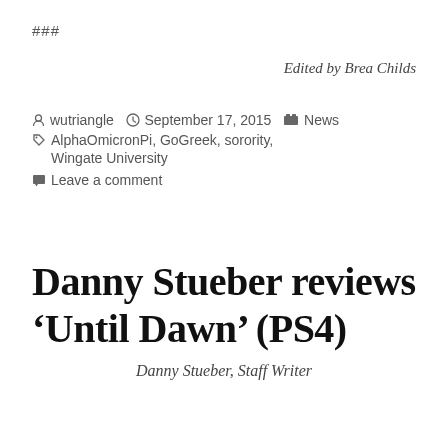###
Edited by Brea Childs
wutriangle   September 17, 2015   News
AlphaOmicronPi, GoGreek, sorority, Wingate University
Leave a comment
Danny Stueber reviews 'Until Dawn' (PS4)
Danny Stueber, Staff Writer